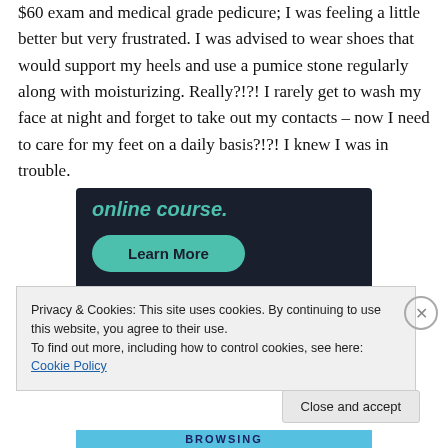$60 exam and medical grade pedicure; I was feeling a little better but very frustrated. I was advised to wear shoes that would support my heels and use a pumice stone regularly along with moisturizing. Really?!?! I rarely get to wash my face at night and forget to take out my contacts – now I need to care for my feet on a daily basis?!?! I knew I was in trouble.
[Figure (screenshot): Dark advertisement banner with teal italic bold text 'online course.' and a teal rounded 'Learn More' button on a dark navy background.]
Privacy & Cookies: This site uses cookies. By continuing to use this website, you agree to their use.
To find out more, including how to control cookies, see here: Cookie Policy
Close and accept